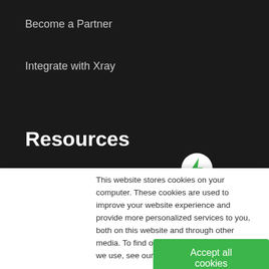Become a Partner
Integrate with Xray
Resources
Blog
eBooks
Webinars
This website stores cookies on your computer. These cookies are used to improve your website experience and provide more personalized services to you, both on this website and through other media. To find out more about the cookies we use, see our Privacy Policy
Accept all cookies